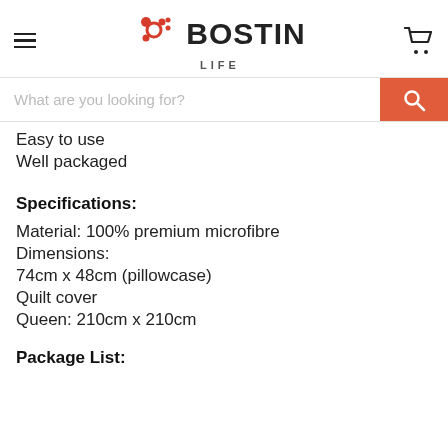BOSTIN LIFE
Easy to use
Well packaged
Specifications:
Material: 100% premium microfibre
Dimensions:
74cm x 48cm (pillowcase)
Quilt cover
Queen: 210cm x 210cm
Package List: